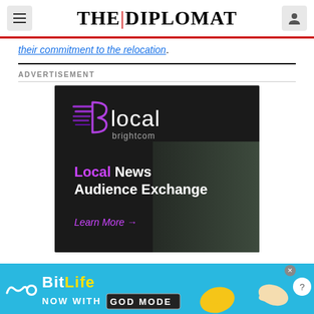THE|DIPLOMAT
their commitment to the relocation.
ADVERTISEMENT
[Figure (illustration): Blocal brightcom advertisement showing Local News Audience Exchange with aerial city view background and Learn More arrow link]
[Figure (illustration): BitLife Now with GOD MODE bottom banner advertisement with cartoon hands and yellow thumbs up]